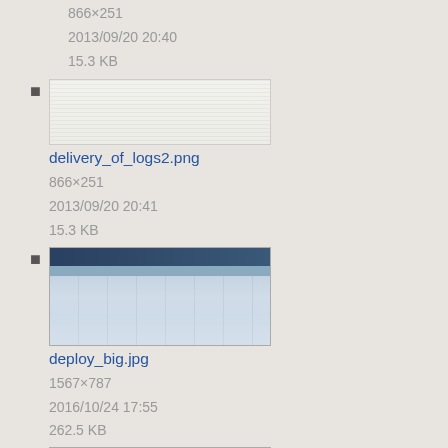866×251
2013/09/20 20:40
15.3 KB
delivery_of_logs2.png
866×251
2013/09/20 20:41
15.3 KB
deploy_big.jpg
1567×787
2016/10/24 17:55
262.5 KB
deploy_search1.jpg
601×448
2016/10/24 17:59